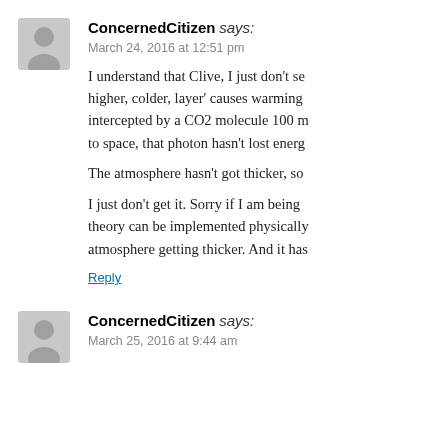ConcernedCitizen says:
March 24, 2016 at 12:51 pm
I understand that Clive, I just don't see how 'emission from a higher, colder, layer' causes warming. If a photon is intercepted by a CO2 molecule 100 m before it escapes to space, that photon hasn't lost energy.
The atmosphere hasn't got thicker, so
I just don't get it. Sorry if I am being dense. The lapse rate theory can be implemented physically only by the atmosphere getting thicker. And it has
Reply
ConcernedCitizen says:
March 25, 2016 at 9:44 am